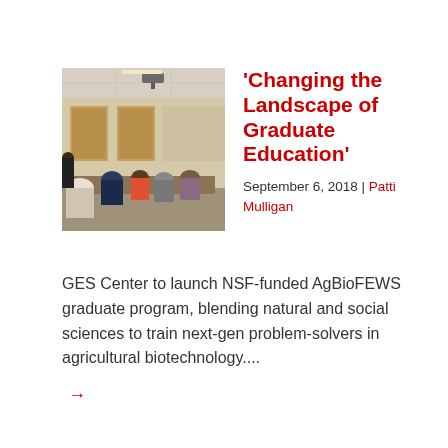[Figure (photo): People seated around tables in a classroom or meeting room setting, viewed from the back/side. Room has orange/wood colored doors and a projector visible overhead.]
'Changing the Landscape of Graduate Education'
September 6, 2018 | Patti Mulligan
GES Center to launch NSF-funded AgBioFEWS graduate program, blending natural and social sciences to train next-gen problem-solvers in agricultural biotechnology....
→